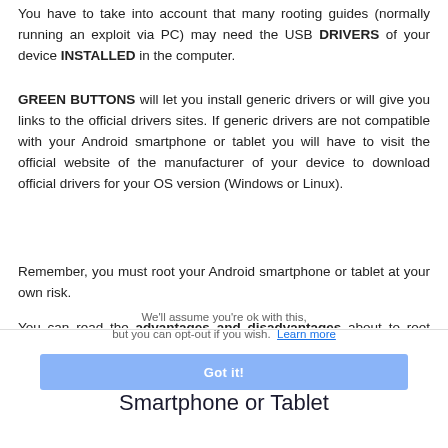You have to take into account that many rooting guides (normally running an exploit via PC) may need the USB DRIVERS of your device INSTALLED in the computer.
GREEN BUTTONS will let you install generic drivers or will give you links to the official drivers sites. If generic drivers are not compatible with your Android smartphone or tablet you will have to visit the official website of the manufacturer of your device to download official drivers for your OS version (Windows or Linux).
Remember, you must root your Android smartphone or tablet at your own risk.
You can read the advantages and disadvantages about to root your Android smartphone or tablet here
We use cookies on our website to give you the most relevant experience by remembering your preferences and repeat visits. By clicking "Accept", you consent to the use of ALL the cookies. However you may visit Cookie Settings to provide a controlled consent. We'll assume you're ok with this, but you can opt-out if you wish. Learn more
Got it!
All Android USB Drivers for your Smartphone or Tablet